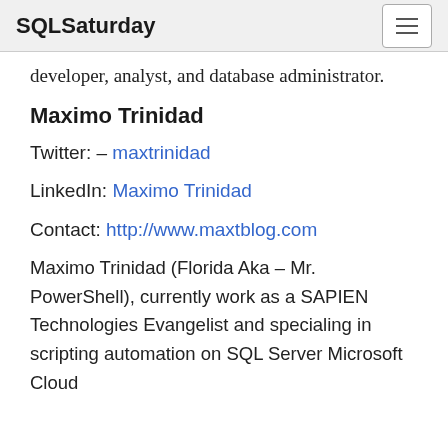SQLSaturday
developer, analyst, and database administrator.
Maximo Trinidad
Twitter: – maxtrinidad
LinkedIn: Maximo Trinidad
Contact: http://www.maxtblog.com
Maximo Trinidad (Florida Aka – Mr. PowerShell), currently work as a SAPIEN Technologies Evangelist and specialing in scripting automation on SQL Server Microsoft Cloud